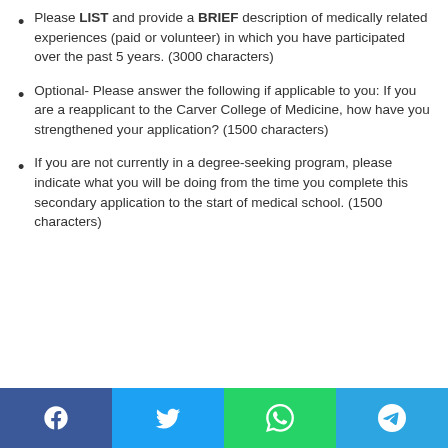Please LIST and provide a BRIEF description of medically related experiences (paid or volunteer) in which you have participated over the past 5 years. (3000 characters)
Optional- Please answer the following if applicable to you: If you are a reapplicant to the Carver College of Medicine, how have you strengthened your application? (1500 characters)
If you are not currently in a degree-seeking program, please indicate what you will be doing from the time you complete this secondary application to the start of medical school. (1500 characters)
Social share bar: Facebook, Twitter, WhatsApp, Telegram